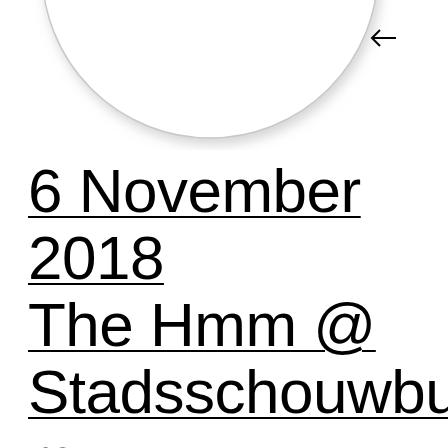[Figure (illustration): Bottom arc of a large circle with a drop shadow, partially visible at the top of the page]
6 November 2018
The Hmm @ Stadsschouwburg